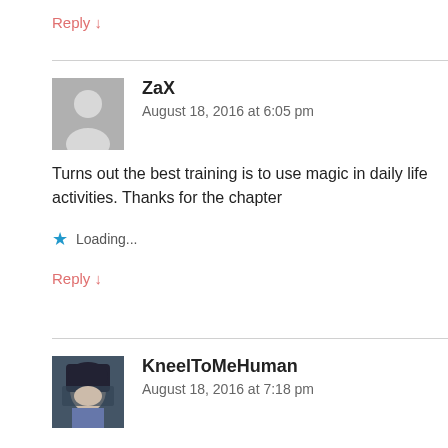Reply ↓
ZaX
August 18, 2016 at 6:05 pm
Turns out the best training is to use magic in daily life activities. Thanks for the chapter
Loading...
Reply ↓
KneelToMeHuman
August 18, 2016 at 7:18 pm